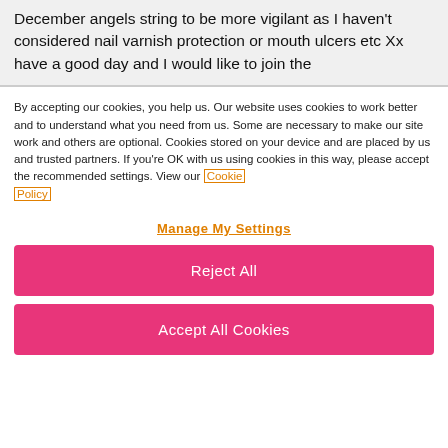December angels string to be more vigilant as I haven't considered nail varnish protection or mouth ulcers etc Xx have a good day and I would like to join the
By accepting our cookies, you help us. Our website uses cookies to work better and to understand what you need from us. Some are necessary to make our site work and others are optional. Cookies stored on your device and are placed by us and trusted partners. If you're OK with us using cookies in this way, please accept the recommended settings. View our Cookie Policy
Manage My Settings
Reject All
Accept All Cookies